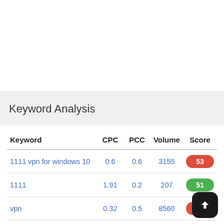Keyword Analysis
| Keyword | CPC | PCC | Volume | Score |
| --- | --- | --- | --- | --- |
| 1111 vpn for windows 10 | 0.6 | 0.6 | 3155 | 53 |
| 1111 | 1.91 | 0.2 | 207 | 51 |
| vpn | 0.32 | 0.5 | 8560 | 16 |
| for | 1.36 | 0.3 | 7920 | 14 |
| windows | 1.57 | 0.7 | 846 |  |
| 10 | 0.70 | 0.0 | 7000 |  |